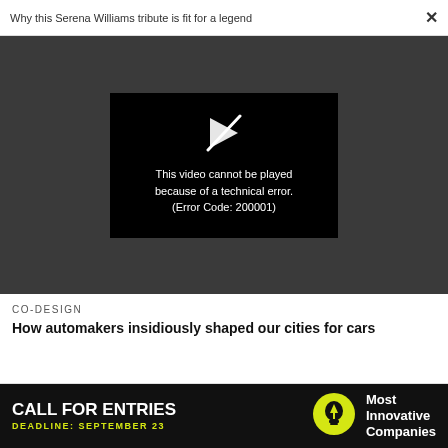Why this Serena Williams tribute is fit for a legend
[Figure (screenshot): Video player showing error message: 'This video cannot be played because of a technical error. (Error Code: 200001)' with a play button icon crossed out, on a black background within a dark gray video area.]
CO-DESIGN
How automakers insidiously shaped our cities for cars
[Figure (other): Large faded number '05' in light gray in background]
[Figure (infographic): Advertisement banner: CALL FOR ENTRIES — DEADLINE: SEPTEMBER 23 — Most Innovative Companies, with a lightbulb icon]